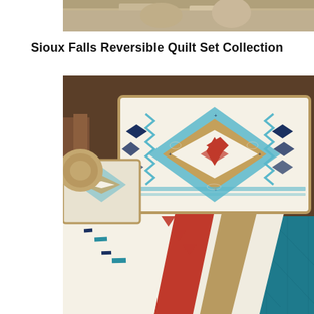[Figure (photo): Partial top photo of quilt/bedding products cropped at top of page]
Sioux Falls Reversible Quilt Set Collection
[Figure (photo): Photo of a bed with the Sioux Falls Reversible Quilt Set Collection displayed. The quilt features Native American-inspired geometric patterns in teal, red, navy, white, and tan/gold colors. A decorative pillow sham with a center diamond medallion design is propped against the headboard. The quilt is shown with the patterned side and the reverse teal quilted side visible.]